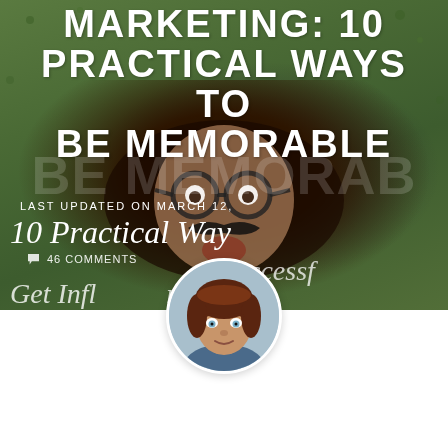[Figure (photo): Blog page screenshot showing a woman lying on grass wearing novelty glasses and mustache, used as background for a marketing article titled 'Marketing: 10 Practical Ways to Be Memorable'. Multiple overlapping text layers visible. A circular profile photo of a woman with brown hair and blue eyes overlaid at the bottom center.]
MARKETING: 10 PRACTICAL WAYS TO BE MEMORABLE
LAST UPDATED ON MARCH 12,
10 Practical Ways
46 COMMENTS
Successf
Get Influencers' Attent